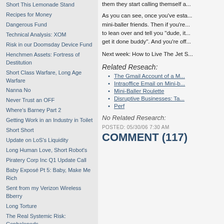Short This Lemonade Stand
Recipes for Money
Dangerous Fund
Technical Analysis: XOM
Risk in our Doomsday Device Fund
Henchmen Assets: Fortress of Destitution
Short Class Warfare, Long Age Warfare
Nanna No
Never Trust an OFF
Where's Barney Part 2
Getting Work in an Industry in Toilet
Short Short
Update on LoS's Liquidity
Long Human Love, Short Robot's
Piratery Corp Inc Q1 Update Call
Baby Exposé Pt 5: Baby, Make Me Rich
Sent from my Verizon Wireless Bberry
Long Torture
The Real Systemic Risk: Cephalopods
The Kid Napping Service
FY'08
Are Walruses Efficient?
Remunerative Powers of OO
Melissa Moody's Ratings Alternative
them they start calling themself a...
As you can see, once you've esta... mini-baller friends. Then if you're... to lean over and tell you "dude, it... get it done buddy". And you're off...
Next week: How to Live The Jet S...
Related Reseach:
The Gmail Account of a M...
Intraoffice Email on Mini-b...
Mini-Baller Roulette
Disruptive Businesses: Ta...
Perf
No Related Research:
POSTED: 05/30/06 7:30 AM
COMMENT (117)